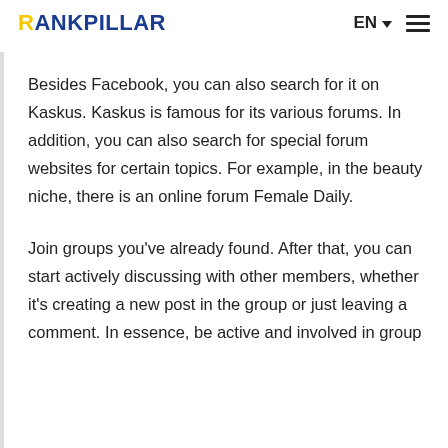RANKPILLAR | EN ▾ ≡
Besides Facebook, you can also search for it on Kaskus. Kaskus is famous for its various forums. In addition, you can also search for special forum websites for certain topics. For example, in the beauty niche, there is an online forum Female Daily.
Join groups you've already found. After that, you can start actively discussing with other members, whether it's creating a new post in the group or just leaving a comment. In essence, be active and involved in group…